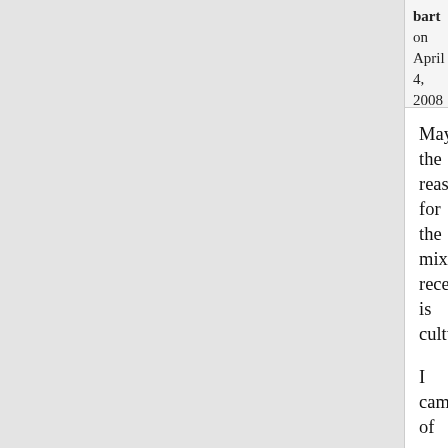bart on April 4, 2008 - 6:53am Permalink | Comments top
Maybe the reason for the mixed reception is cultural.
I came of age in the 70s so I must have absorbed ecological thinking by osmosis. When I encountered H.T. Odum's work and EROEI in the last 10 years, it felt like coming home - like the most obvious thing in the world. It fit right in to my interests in gardening and natural history.
I've found Odum and EROEI provide a conceptual framework that's essential for understanding energy